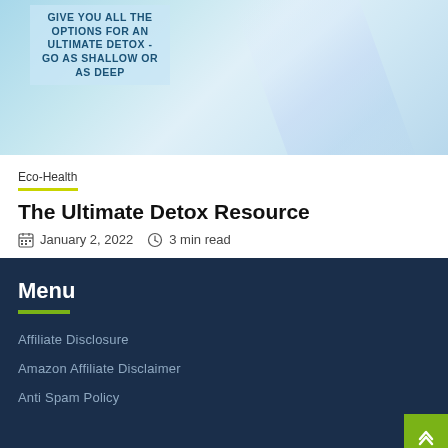[Figure (photo): Light blue background image with text overlay reading: GIVE YOU ALL THE OPTIONS FOR AN ULTIMATE DETOX - GO AS SHALLOW OR AS DEEP, with a rainbow/light beam effect on the right side]
Eco-Health
The Ultimate Detox Resource
January 2, 2022  3 min read
Menu
Affiliate Disclosure
Amazon Affiliate Disclaimer
Anti Spam Policy